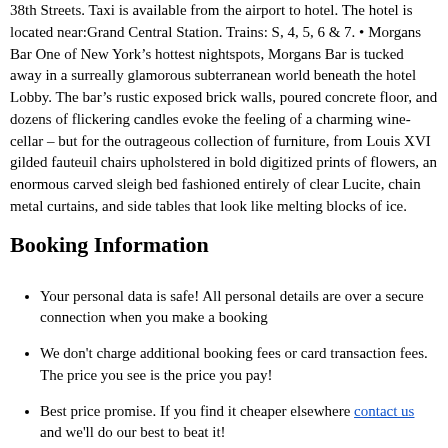38th Streets. Taxi is available from the airport to hotel. The hotel is located near:Grand Central Station. Trains: S, 4, 5, 6 & 7. • Morgans Bar One of New York's hottest nightspots, Morgans Bar is tucked away in a surreally glamorous subterranean world beneath the hotel Lobby. The bar's rustic exposed brick walls, poured concrete floor, and dozens of flickering candles evoke the feeling of a charming wine-cellar – but for the outrageous collection of furniture, from Louis XVI gilded fauteuil chairs upholstered in bold digitized prints of flowers, an enormous carved sleigh bed fashioned entirely of clear Lucite, chain metal curtains, and side tables that look like melting blocks of ice.
Booking Information
Your personal data is safe! All personal details are over a secure connection when you make a booking
We don't charge additional booking fees or card transaction fees. The price you see is the price you pay!
Best price promise. If you find it cheaper elsewhere contact us and we'll do our best to beat it!